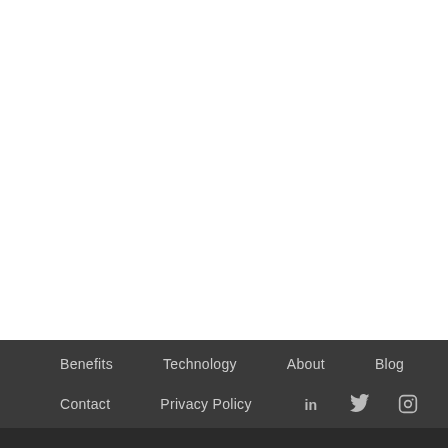Benefits  Technology  About  Blog  Contact  Privacy Policy
[Figure (other): Social media icons: LinkedIn, Twitter, Instagram]